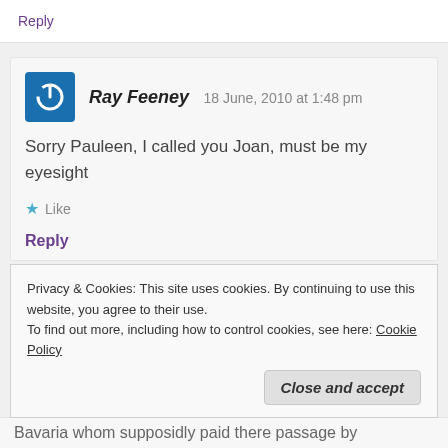Reply
Ray Feeney  18 June, 2010 at 1:48 pm
Sorry Pauleen, I called you Joan, must be my eyesight
Like
Reply
Privacy & Cookies: This site uses cookies. By continuing to use this website, you agree to their use.
To find out more, including how to control cookies, see here: Cookie Policy
Close and accept
Bavaria whom supposidly paid there passage by